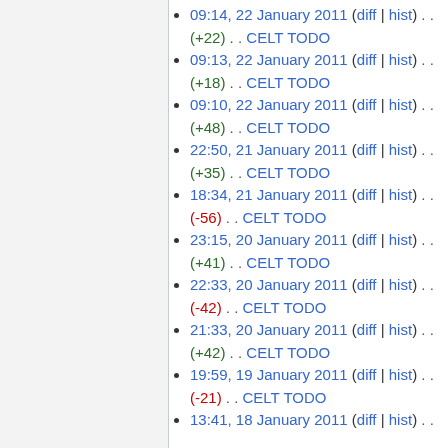09:14, 22 January 2011 (diff | hist) . . (+22) . . CELT TODO
09:13, 22 January 2011 (diff | hist) . . (+18) . . CELT TODO
09:10, 22 January 2011 (diff | hist) . . (+48) . . CELT TODO
22:50, 21 January 2011 (diff | hist) . . (+35) . . CELT TODO
18:34, 21 January 2011 (diff | hist) . . (-56) . . CELT TODO
23:15, 20 January 2011 (diff | hist) . . (+41) . . CELT TODO
22:33, 20 January 2011 (diff | hist) . . (-42) . . CELT TODO
21:33, 20 January 2011 (diff | hist) . . (+42) . . CELT TODO
19:59, 19 January 2011 (diff | hist) . . (-21) . . CELT TODO
13:41, 18 January 2011 (diff | hist) . .